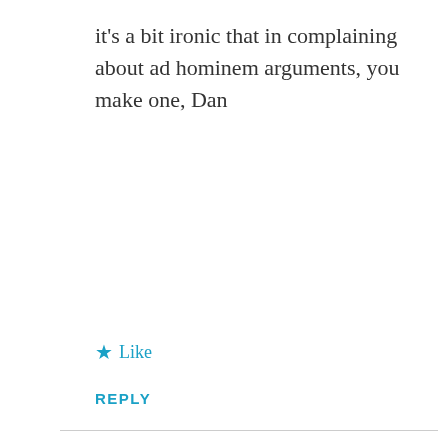it's a bit ironic that in complaining about ad hominem arguments, you make one, Dan
★ Like
REPLY
Daniel Bastian
JULY 23, 2013 AT 12:05 AM
👍 2 👎 0 ℹ Rate This
Whit,